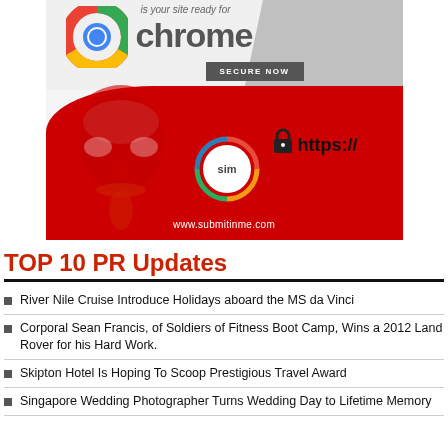[Figure (illustration): Advertisement banner for submitinme.com showing Google Chrome logo, 'chrome' text, 'is your site ready for' tagline, 'SECURE NOW' button, a Guy Fawkes mask on red background, SIM logo circle, lock icon, 'https://' text, and 'www.submitinme.com' URL]
TOP 10 PR Updates
River Nile Cruise Introduce Holidays aboard the MS da Vinci
Corporal Sean Francis, of Soldiers of Fitness Boot Camp, Wins a 2012 Land Rover for his Hard Work.
Skipton Hotel Is Hoping To Scoop Prestigious Travel Award
Singapore Wedding Photographer Turns Wedding Day to Lifetime Memory